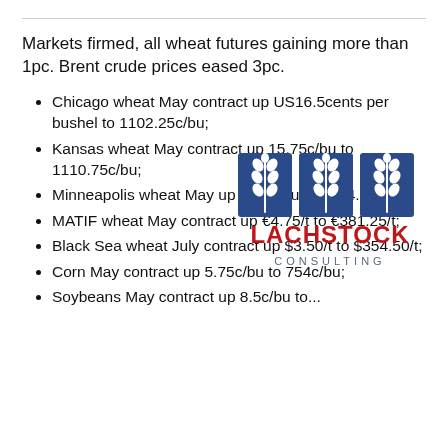Markets firmed, all wheat futures gaining more than 1pc. Brent crude prices eased 3pc.
Chicago wheat May contract up US16.5cents per bushel to 1102.25c/bu;
Kansas wheat May contract up 15.75c/bu to 1110.75c/bu;
Minneapolis wheat May up 21.5c/bu to 1104.25c/bu;
[Figure (logo): Lachstock Consulting logo: three blue squares each containing a white wheat stalk icon, with LACHSTOCK in bold red and CONSULTING in spaced blue-grey letters below]
MATIF wheat May contract up €4.75/t to €381.25/t;
Black Sea wheat July contract up $3.50/t to $354.50/t;
Corn May contract up 5.75c/bu to 754c/bu;
Soybeans May contract up 8.5c/bu to...